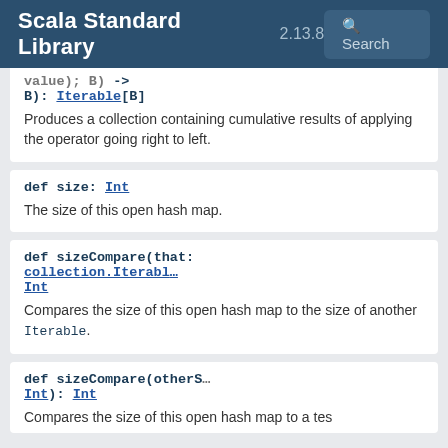Scala Standard Library 2.13.8 Search
value); B) -> B): Iterable[B]
Produces a collection containing cumulative results of applying the operator going right to left.
def size: Int
The size of this open hash map.
def sizeCompare(that: collection.Iterable Int
Compares the size of this open hash map to the size of another Iterable.
def sizeCompare(otherSize: Int): Int
Compares the size of this open hash map to a tes